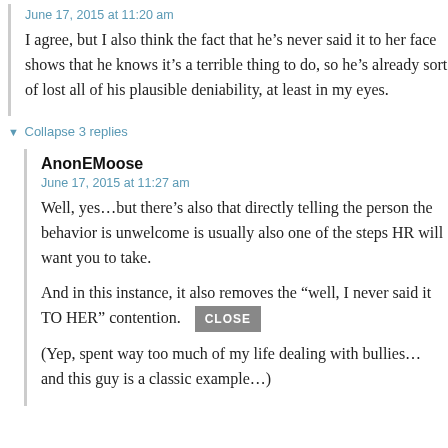June 17, 2015 at 11:20 am
I agree, but I also think the fact that he’s never said it to her face shows that he knows it’s a terrible thing to do, so he’s already sort of lost all of his plausible deniability, at least in my eyes.
▼ Collapse 3 replies
AnonEMoose
June 17, 2015 at 11:27 am
Well, yes…but there’s also that directly telling the person the behavior is unwelcome is usually also one of the steps HR will want you to take.
And in this instance, it also removes the “well, I never said it TO HER” contention.
(Yep, spent way too much of my life dealing with bullies… and this guy is a classic example…)